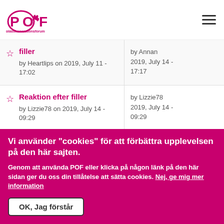plastikoperationsforum
filler by Heartlips on 2019, July 11 - 17:02 | by Annan 2019, July 14 - 17:17
Reaktion efter filler by Lizzie78 on 2019, July 14 - 09:29 | by Lizzie78 2019, July 14 - 09:29
Någon som testat fillern "Juves"? by Empalinan on 2019, July 3 - 17:40 | by Empalinan 2019, July 3 - 17:40
Vi använder "cookies" för att förbättra upplevelsen på den här sajten. Genom att använda POF eller klicka på någon länk på den här sidan ger du oss din tillåtelse att sätta cookies. Nej, ge mig mer information
OK, Jag förstår